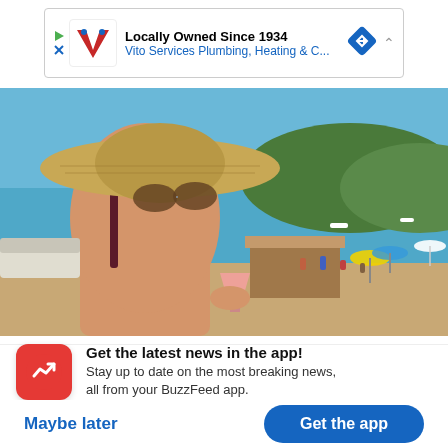[Figure (screenshot): Advertisement banner: Vito Services Plumbing, Heating & C... - Locally Owned Since 1934, with logo and navigation icon]
[Figure (photo): Woman wearing a large straw hat and sunglasses at a beach, holding a pink cocktail. Sandy beach with people, blue water, and green hillside in the background.]
Get the latest news in the app! Stay up to date on the most breaking news, all from your BuzzFeed app.
Maybe later
Get the app